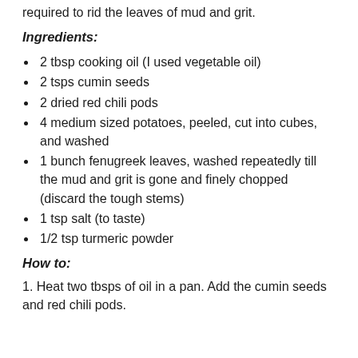required to rid the leaves of mud and grit.
Ingredients:
2 tbsp cooking oil (I used vegetable oil)
2 tsps cumin seeds
2 dried red chili pods
4 medium sized potatoes, peeled, cut into cubes, and washed
1 bunch fenugreek leaves, washed repeatedly till the mud and grit is gone and finely chopped (discard the tough stems)
1 tsp salt (to taste)
1/2 tsp turmeric powder
How to:
1. Heat two tbsps of oil in a pan. Add the cumin seeds and red chili pods.